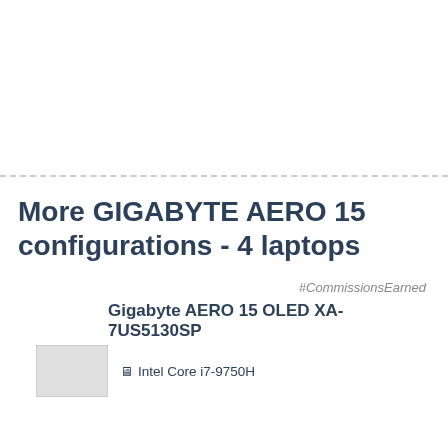More GIGABYTE AERO 15 configurations - 4 laptops
#CommissionsEarned
Gigabyte AERO 15 OLED XA-7US5130SP
Intel Core i7-9750H